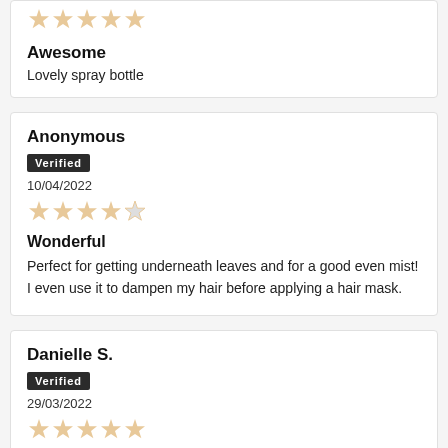★★★★★ (5 stars, faded)
Awesome
Lovely spray bottle
Anonymous
Verified
10/04/2022
★★★★★ (4 stars filled, faded)
Wonderful
Perfect for getting underneath leaves and for a good even mist! I even use it to dampen my hair before applying a hair mask.
Danielle S.
Verified
29/03/2022
★★★★☆ (stars, faded)